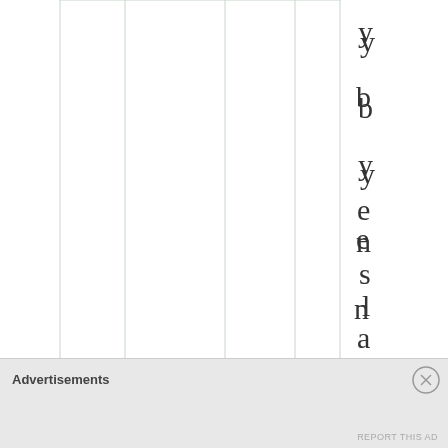[Figure (other): A table or spreadsheet-like layout with multiple vertical column lines visible, and vertical text spelling out 'ybyenslaving' letter by letter running down the right portion of the page.]
Advertisements
REPORT THIS AD